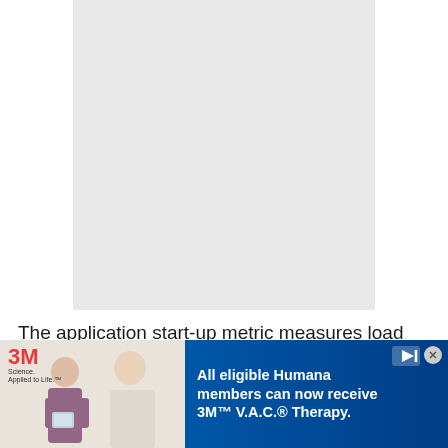[Figure (other): Large light gray rectangular placeholder box representing an image or content area]
The application start-up metric measures load time
[Figure (other): Advertisement banner for 3M Science. Applied to Life. showing All eligible Humana members can now receive 3M V.A.C. Therapy. with a medical professional photo on the left side.]